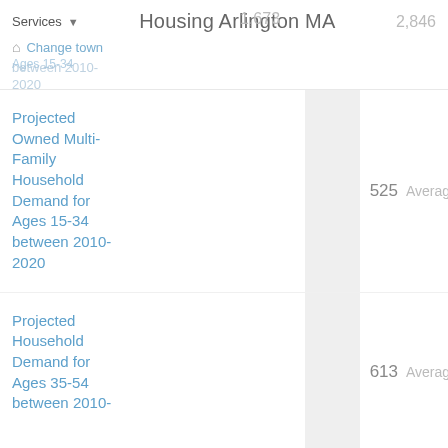Housing Arlington MA
Services ▾    1,673    2,846
🏠 Change town
Ages 15-34 between 2010-2020
| Row Label | Value | Averages: | Avg Value | Extra |
| --- | --- | --- | --- | --- |
| Projected Owned Multi-Family Household Demand for Ages 15-34 between 2010-2020 | 525 | Averages: | 893 |  |
| Projected Household Demand for Ages 35-54 between 2010- | 613 | Averages: | -400 |  |